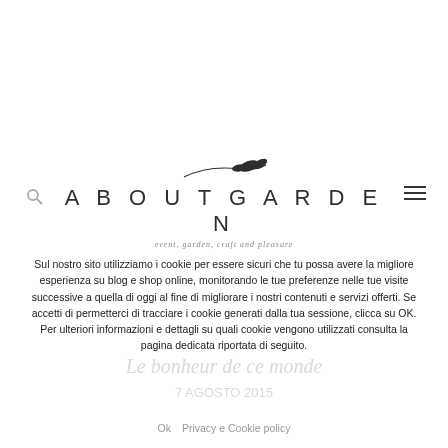[Figure (logo): AboutGarden logo with sprig illustration, large spaced uppercase text ABOUTGARDEN, and italic tagline 'event, garden, craft and pleasure']
Sul nostro sito utilizziamo i cookie per essere sicuri che tu possa avere la migliore esperienza su blog e shop online, monitorando le tue preferenze nelle tue visite successive a quella di oggi al fine di migliorare i nostri contenuti e servizi offerti. Se accetti di permetterci di tracciare i cookie generati dalla tua sessione, clicca su OK. Per ulteriori informazioni e dettagli su quali cookie vengono utilizzati consulta la pagina dedicata riportata di seguito.
Ok   Privacy e Cookie policy